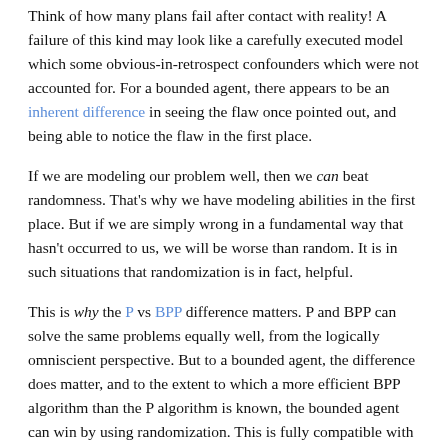Think of how many plans fail after contact with reality! A failure of this kind may look like a carefully executed model which some obvious-in-retrospect confounders which were not accounted for. For a bounded agent, there appears to be an inherent difference in seeing the flaw once pointed out, and being able to notice the flaw in the first place.
If we are modeling our problem well, then we can beat randomness. That's why we have modeling abilities in the first place. But if we are simply wrong in a fundamental way that hasn't occurred to us, we will be worse than random. It is in such situations that randomization is in fact, helpful.
This is why the P vs BPP difference matters. P and BPP can solve the same problems equally well, from the logically omniscient perspective. But to a bounded agent, the difference does matter, and to the extent to which a more efficient BPP algorithm than the P algorithm is known, the bounded agent can win by using randomization. This is fully compatible with the fact that to Omega, P and BPP are equally powerful.
As Jaynes said:
It appears to be a quite general principle that, whenever there is a randomized way of doing something, then there is a nonrandomized way that delivers better performance but